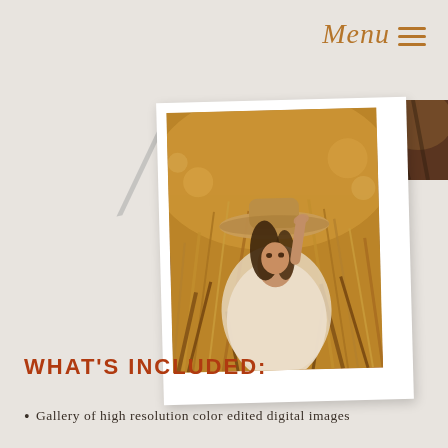Menu ≡
[Figure (photo): Young woman in a wide-brimmed straw hat sitting among tall golden wheat/grass, wearing a white outfit, warm sunset bokeh lighting, presented as a polaroid-style photo with white border]
[Figure (photo): Partial corner view of another photo showing dark hair against warm background]
WHAT'S INCLUDED:
Gallery of high resolution color edited digital images